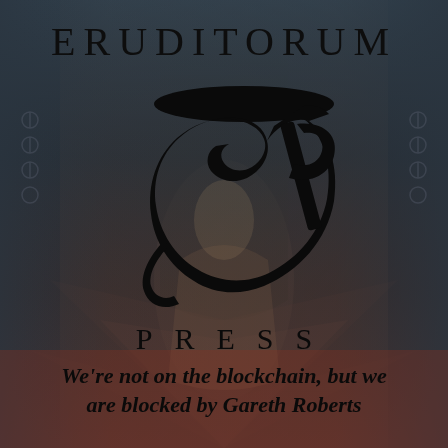ERUDITORUM
[Figure (logo): Eruditorum Press stylized EP logo — a bold sweeping calligraphic letterform combining E and P in black ink, with a curved C-shape and flourishing tail]
PRESS
We're not on the blockchain, but we are blocked by Gareth Roberts